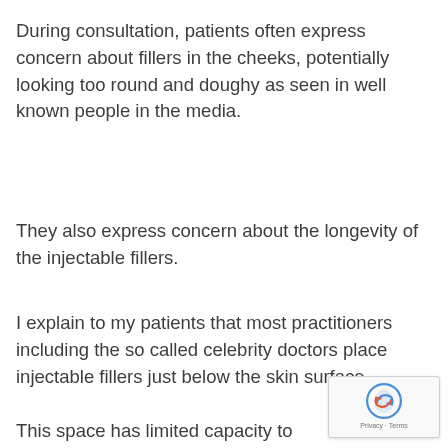During consultation, patients often express concern about fillers in the cheeks, potentially looking too round and doughy as seen in well known people in the media.
They also express concern about the longevity of the injectable fillers.
I explain to my patients that most practitioners including the so called celebrity doctors place injectable fillers just below the skin surface.
This space has limited capacity to maintain the structured appearance people want.